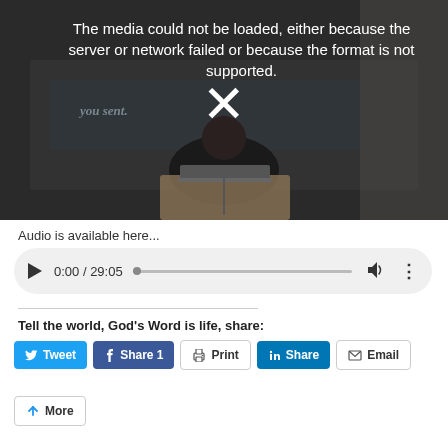[Figure (screenshot): Video player showing error message: 'The media could not be loaded, either because the server or network failed or because the format is not supported.' with a white X icon in center, dark background with silhouette of person at podium. Watermark 'godswordislife.com' in top left.]
Audio is available here...
[Figure (screenshot): Audio player UI showing play button, time 0:00 / 29:05, progress bar, volume icon, and more options icon on a light gray rounded background.]
Tell the world, God's Word is life, share:
[Figure (infographic): Row of share buttons: Tweet (Twitter, blue), Share 1 (Facebook, dark blue), Print (white/gray border), Share (LinkedIn, blue), Email (white/gray border), and More button below.]